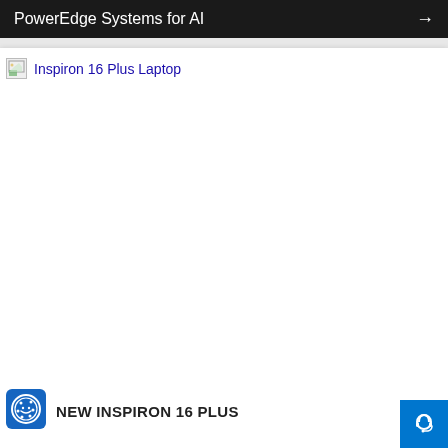PowerEdge Systems for AI →
Inspiron 16 Plus Laptop
[Figure (photo): Broken/missing product image placeholder for Inspiron 16 Plus Laptop]
NEW INSPIRON 16 PLUS
[Figure (logo): Blue cookie/circular logo icon with star dots pattern]
[Figure (illustration): Blue headset support button in bottom right corner]